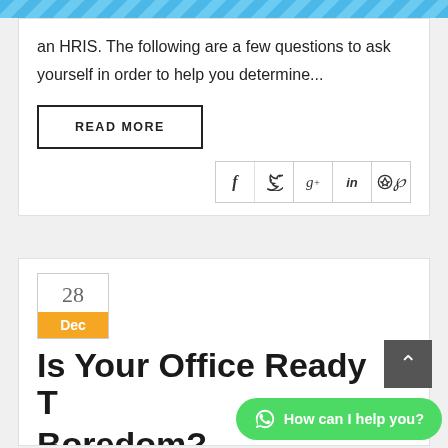an HRIS. The following are a few questions to ask yourself in order to help you determine...
READ MORE
[Figure (other): Social share icons: Facebook (f), Twitter, Google+, LinkedIn, Pinterest]
28
Dec
Is Your Office Ready T...
How can I help you?